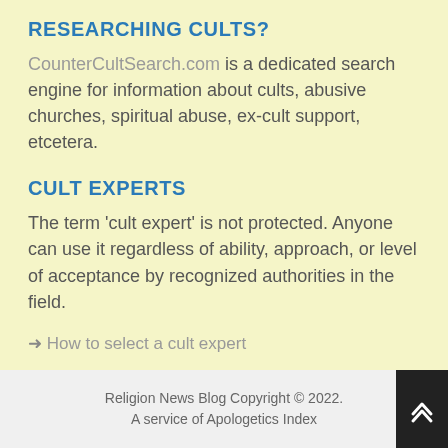RESEARCHING CULTS?
CounterCultSearch.com is a dedicated search engine for information about cults, abusive churches, spiritual abuse, ex-cult support, etcetera.
CULT EXPERTS
The term 'cult expert' is not protected. Anyone can use it regardless of ability, approach, or level of acceptance by recognized authorities in the field.
→ How to select a cult expert
Religion News Blog Copyright © 2022. A service of Apologetics Index